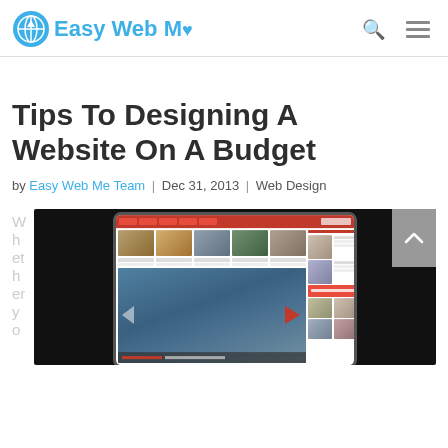Easy Web Me
Tips To Designing A Website On A Budget
by Easy Web Me Team | Dec 31, 2013 | Web Design
W h et h er y o
[Figure (screenshot): Screenshot of a website displayed on a laptop/monitor mockup showing a news or magazine-style website with image thumbnails, a featured article carousel, and a red navigation bar at the top.]